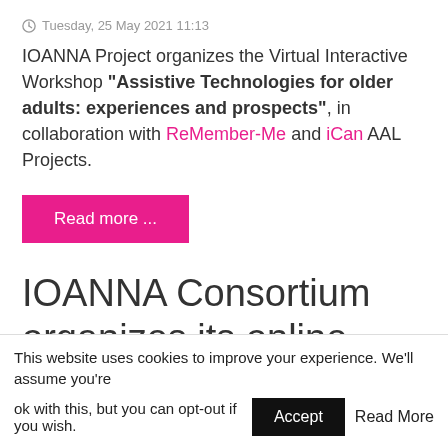Tuesday, 25 May 2021 11:13
IOANNA Project organizes the Virtual Interactive Workshop "Assistive Technologies for older adults: experiences and prospects", in collaboration with ReMember-Me and iCan AAL Projects.
Read more ...
IOANNA Consortium organizes its online M38 Consortium Meeting
This website uses cookies to improve your experience. We'll assume you're ok with this, but you can opt-out if you wish.
Accept  Read More